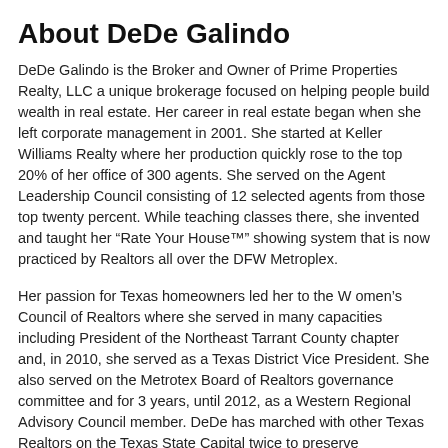About DeDe Galindo
DeDe Galindo is the Broker and Owner of Prime Properties Realty, LLC a unique brokerage focused on helping people build wealth in real estate. Her career in real estate began when she left corporate management in 2001. She started at Keller Williams Realty where her production quickly rose to the top 20% of her office of 300 agents. She served on the Agent Leadership Council consisting of 12 selected agents from those top twenty percent. While teaching classes there, she invented and taught her “Rate Your House™” showing system that is now practiced by Realtors all over the DFW Metroplex.
Her passion for Texas homeowners led her to the W omen’s Council of Realtors where she served in many capacities including President of the Northeast Tarrant County chapter and, in 2010, she served as a Texas District Vice President. She also served on the Metrotex Board of Realtors governance committee and for 3 years, until 2012, as a Western Regional Advisory Council member. DeDe has marched with other Texas Realtors on the Texas State Capital twice to preserve homeowner’s rights and met with US Congress members and US Senators to discuss misguided